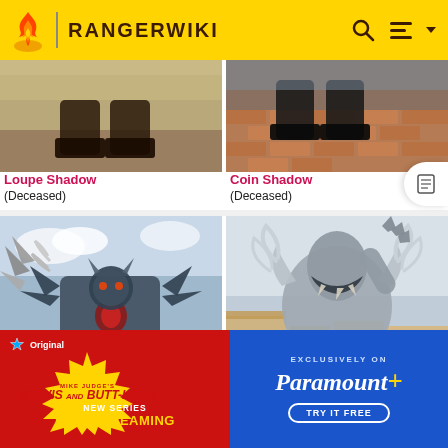RANGERWIKI
[Figure (photo): Loupe Shadow character feet/boots on sand ground]
Loupe Shadow
(Deceased)
[Figure (photo): Coin Shadow character feet/boots on brick ground]
Coin Shadow
(Deceased)
[Figure (photo): Monster character with drill/claw weapons and horned shoulders against sky]
[Figure (photo): Ornate silver metallic monster character against suburban background]
[Figure (advertisement): Paramount+ ad for Mike Judge's Beavis and Butt-Head New Series Now Streaming, Exclusively on Paramount+, Try It Free]